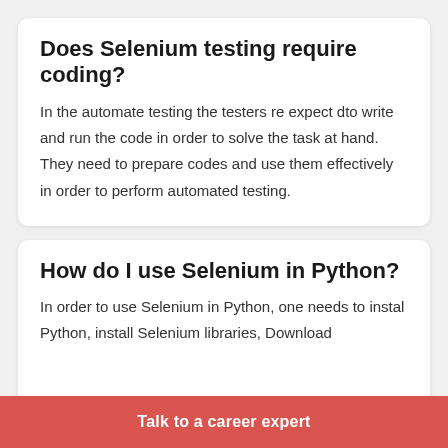Does Selenium testing require coding?
In the automate testing the testers re expect dto write and run the code in order to solve the task at hand. They need to prepare codes and use them effectively in order to perform automated testing.
How do I use Selenium in Python?
In order to use Selenium in Python, one needs to instal Python, install Selenium libraries, Download
Talk to a career expert